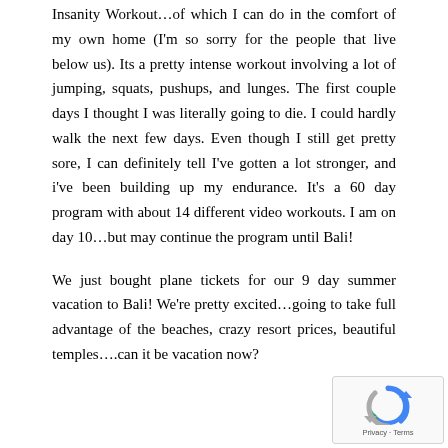Insanity Workout…of which I can do in the comfort of my own home (I'm so sorry for the people that live below us). Its a pretty intense workout involving a lot of jumping, squats, pushups, and lunges. The first couple days I thought I was literally going to die. I could hardly walk the next few days. Even though I still get pretty sore, I can definitely tell I've gotten a lot stronger, and i've been building up my endurance. It's a 60 day program with about 14 different video workouts. I am on day 10…but may continue the program until Bali!
We just bought plane tickets for our 9 day summer vacation to Bali! We're pretty excited…going to take full advantage of the beaches, crazy resort prices, beautiful temples….can it be vacation now?
[Figure (logo): reCAPTCHA badge with circular arrow icon and Privacy · Terms text]